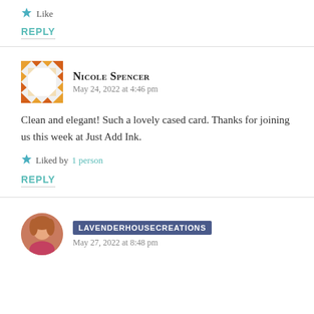★ Like
REPLY
Nicole Spencer · May 24, 2022 at 4:46 pm
Clean and elegant! Such a lovely cased card. Thanks for joining us this week at Just Add Ink.
★ Liked by 1 person
REPLY
LAVENDERHOUSECREATIONS · May 27, 2022 at 8:48 pm